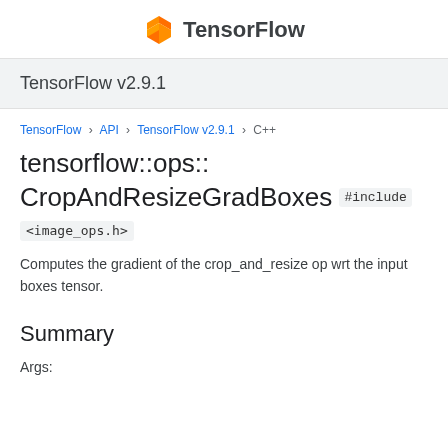TensorFlow
TensorFlow v2.9.1
TensorFlow > API > TensorFlow v2.9.1 > C++
tensorflow::ops::CropAndResizeGradBoxes #include <image_ops.h>
Computes the gradient of the crop_and_resize op wrt the input boxes tensor.
Summary
Args: